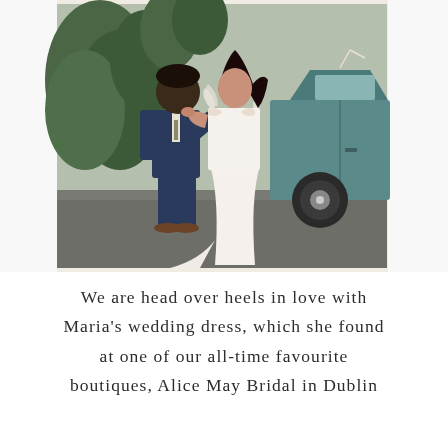[Figure (photo): A bride in a white flowing wedding dress with feather/lace details stands embracing a groom in a navy blue suit. They are posed next to a vintage teal/green car, with green shrubs in the background. The groom's face is obscured. The bride's dress has a long train.]
We are head over heels in love with Maria's wedding dress, which she found at one of our all-time favourite boutiques, Alice May Bridal in Dublin